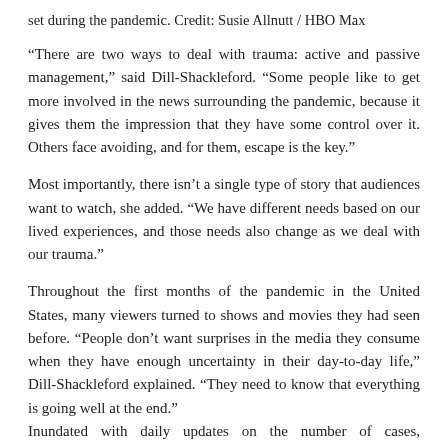set during the pandemic. Credit: Susie Allnutt / HBO Max
“There are two ways to deal with trauma: active and passive management,” said Dill-Shackleford. “Some people like to get more involved in the news surrounding the pandemic, because it gives them the impression that they have some control over it. Others face avoiding, and for them, escape is the key.”
Most importantly, there isn’t a single type of story that audiences want to watch, she added. “We have different needs based on our lived experiences, and those needs also change as we deal with our trauma.”
Throughout the first months of the pandemic in the United States, many viewers turned to shows and movies they had seen before. “People don’t want surprises in the media they consume when they have enough uncertainty in their day-to-day life,” Dill-Shackleford explained. “They need to know that everything is going well at the end.” Inundated with daily updates on the number of cases, hospitalizations and deaths, some people may have found comfort in re-viewing the shows as they did not need to pay close attention to what was going on. screen,